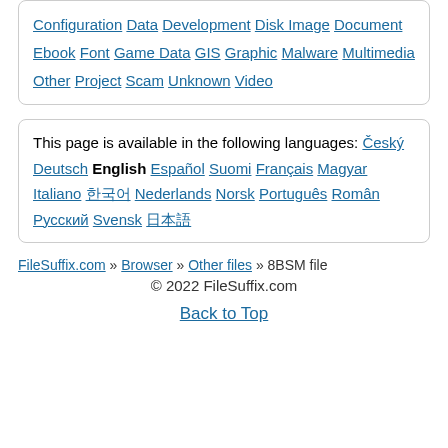Configuration Data Development Disk Image Document Ebook Font Game Data GIS Graphic Malware Multimedia Other Project Scam Unknown Video
This page is available in the following languages: Český Deutsch English Español Suomi Français Magyar Italiano 한국어 Nederlands Norsk Português Român Русский Svensk 日本語
FileSuffix.com » Browser » Other files » 8BSM file
© 2022 FileSuffix.com
Back to Top